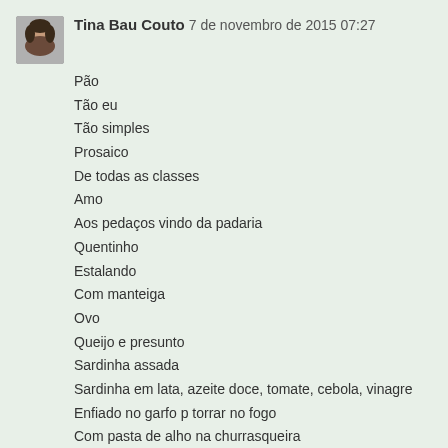[Figure (photo): Small avatar photo of a woman, approximately 48x48px, with dark hair]
Tina Bau Couto 7 de novembro de 2015 07:27
Pão
Tão eu
Tão simples
Prosa ico
De todas as classes
Amo
Aos pedaços vindo da padaria
Quentinho
Estalando
Com manteiga
Ovo
Queijo e presunto
Sardinha assada
Sardinha em lata, azeite doce, tomate, cebola, vinagre
Enfiado no garfo p torrar no fogo
Com pasta de alho na churrasqueira
Para lamber prato de sopa
E tantas outras delicias a qualquer hora do dia, em qualquer lugar
Aqui tadinho, chamamos pão cacetinho